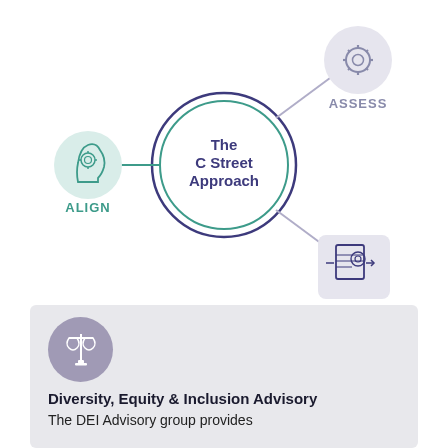[Figure (infographic): The C Street Approach diagram showing three nodes: ALIGN (human head with gear icon, green), ASSESS (gear icon, top right, gray), and ADVANCE (document with gear icon, bottom right, navy). Central circle reads 'The C Street Approach'. Lines connect the center to each node.]
[Figure (infographic): Diversity, Equity & Inclusion Advisory section with a scale/balance icon in a purple circle, bold title 'Diversity, Equity & Inclusion Advisory', and partial body text 'The DEI Advisory group provides']
Diversity, Equity & Inclusion Advisory
The DEI Advisory group provides